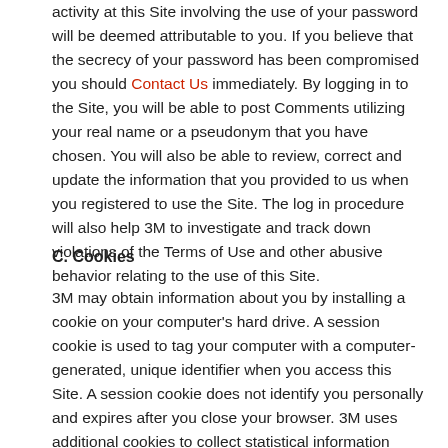activity at this Site involving the use of your password will be deemed attributable to you. If you believe that the secrecy of your password has been compromised you should Contact Us immediately. By logging in to the Site, you will be able to post Comments utilizing your real name or a pseudonym that you have chosen. You will also be able to review, correct and update the information that you provided to us when you registered to use the Site. The log in procedure will also help 3M to investigate and track down violations of the Terms of Use and other abusive behavior relating to the use of this Site.
C. Cookies
3M may obtain information about you by installing a cookie on your computer's hard drive. A session cookie is used to tag your computer with a computer-generated, unique identifier when you access this Site. A session cookie does not identify you personally and expires after you close your browser. 3M uses additional cookies to collect statistical information about the ways visitors use this Site – which pages they visit, which links they use, and how long they stay on each page. 3M